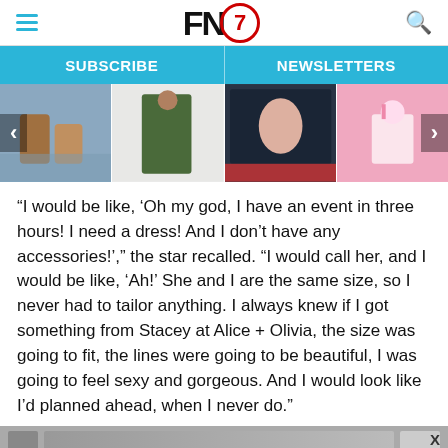FN7 logo with hamburger menu and search icon
SUBSCRIBE | NEWSLETTERS
[Figure (photo): Horizontal image carousel strip showing four thumbnail images of people/fashion content, with left and right navigation arrows]
“I would be like, ‘Oh my god, I have an event in three hours! I need a dress! And I don’t have any accessories!’,” the star recalled. “I would call her, and I would be like, ‘Ah!’ She and I are the same size, so I never had to tailor anything. I always knew if I got something from Stacey at Alice + Olivia, the size was going to fit, the lines were going to be beautiful, I was going to feel sexy and gorgeous. And I would look like I’d planned ahead, when I never do.”
[Figure (screenshot): Partial bottom image strip partially visible]
WWD AND FN PRESENT | FIXING_FIT A SPECIAL REPORT | DOWNLOAD THE REPORT | aelm